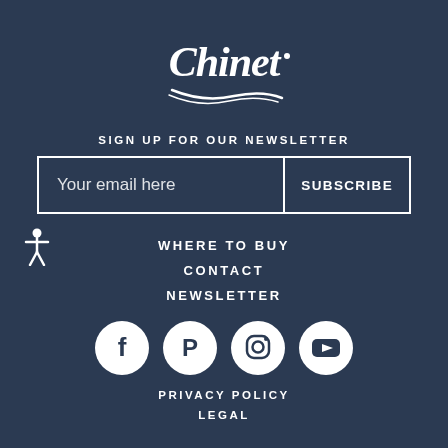[Figure (logo): Chinet brand logo in white script text with decorative underline swash]
SIGN UP FOR OUR NEWSLETTER
[Figure (infographic): Email subscription form with 'Your email here' placeholder input and SUBSCRIBE button, white border]
[Figure (illustration): Accessibility icon (stick figure person with arms out)]
WHERE TO BUY
CONTACT
NEWSLETTER
[Figure (infographic): Four social media icons in white circles: Facebook, Pinterest, Instagram, YouTube]
PRIVACY POLICY
LEGAL